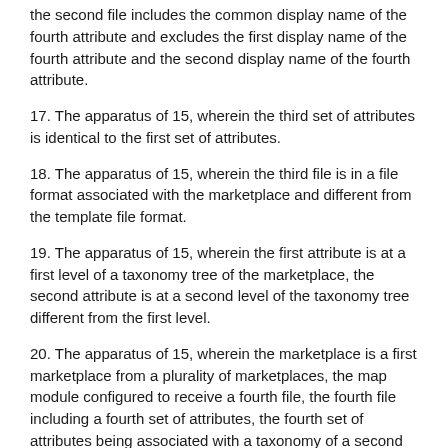the second file includes the common display name of the fourth attribute and excludes the first display name of the fourth attribute and the second display name of the fourth attribute.
17. The apparatus of 15, wherein the third set of attributes is identical to the first set of attributes.
18. The apparatus of 15, wherein the third file is in a file format associated with the marketplace and different from the template file format.
19. The apparatus of 15, wherein the first attribute is at a first level of a taxonomy tree of the marketplace, the second attribute is at a second level of the taxonomy tree different from the first level.
20. The apparatus of 15, wherein the marketplace is a first marketplace from a plurality of marketplaces, the map module configured to receive a fourth file, the fourth file including a fourth set of attributes, the fourth set of attributes being associated with a taxonomy of a second marketplace from the plurality of marketplaces, the map module configured to map the fourth set of attributes to a fifth set of attributes, the fifth set of attributes being associated with the taxonomy of the second marketplace, the map module configured to define a fifth file based on the fourth file, the fifth file including at least some of the second